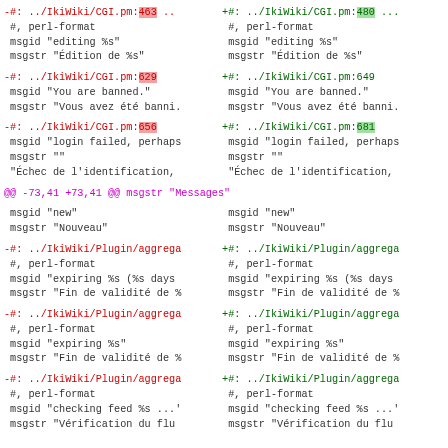-#: ../IkiWiki/CGI.pm:463 ...
 #, perl-format
 msgid "editing %s"
 msgstr "Édition de %s"
+#: ../IkiWiki/CGI.pm:480 ...
 #, perl-format
 msgid "editing %s"
 msgstr "Édition de %s"
-#: ../IkiWiki/CGI.pm:629
 msgid "You are banned."
 msgstr "Vous avez été banni.
+#: ../IkiWiki/CGI.pm:649
 msgid "You are banned."
 msgstr "Vous avez été banni.
-#: ../IkiWiki/CGI.pm:656
 msgid "login failed, perhaps
 msgstr ""
 "Échec de l'identification,
+#: ../IkiWiki/CGI.pm:681
 msgid "login failed, perhaps
 msgstr ""
 "Échec de l'identification,
@@ -73,41 +73,41 @@ msgstr "Messages"
msgid "new"
 msgstr "Nouveau"
msgid "new"
 msgstr "Nouveau"
-#: ../IkiWiki/Plugin/aggrega
 #, perl-format
 msgid "expiring %s (%s days 
 msgstr "Fin de validité de %
+#: ../IkiWiki/Plugin/aggrega
 #, perl-format
 msgid "expiring %s (%s days
 msgstr "Fin de validité de %
-#: ../IkiWiki/Plugin/aggrega
 #, perl-format
 msgid "expiring %s"
 msgstr "Fin de validité de %
+#: ../IkiWiki/Plugin/aggrega
 #, perl-format
 msgid "expiring %s"
 msgstr "Fin de validité de %
-#: ../IkiWiki/Plugin/aggrega
 #, perl-format
 msgid "checking feed %s ...'
 msgstr "Vérification du flu
+#: ../IkiWiki/Plugin/aggrega
 #, perl-format
 msgid "checking feed %s ...'
 msgstr "Vérification du flu